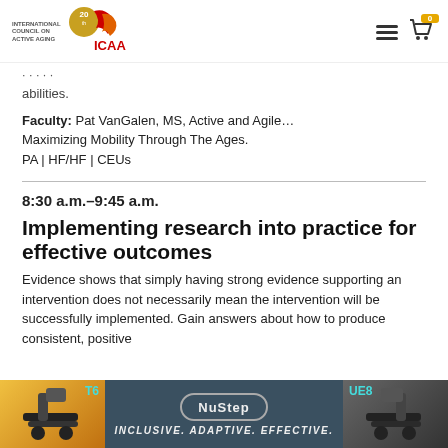[Figure (logo): ICAA International Council on Active Aging logo with 20th anniversary badge and navigation icons]
abilities.
Faculty: Pat VanGalen, MS, Active and Agile… Maximizing Mobility Through The Ages. PA | HF/HF | CEUs
8:30 a.m.–9:45 a.m.
Implementing research into practice for effective outcomes
Evidence shows that simply having strong evidence supporting an intervention does not necessarily mean the intervention will be successfully implemented. Gain answers about how to produce consistent, positive
[Figure (illustration): NuStep advertisement banner: T6 and UE8 exercise machines with tagline INCLUSIVE. ADAPTIVE. EFFECTIVE.]